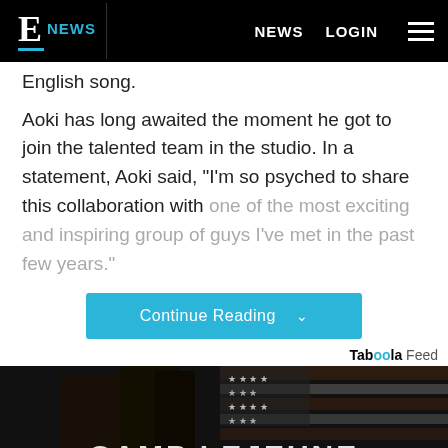E NEWS | NEWS | LOGIN
English song.
Aoki has long awaited the moment he got to join the talented team in the studio. In a statement, Aoki said, "I'm so psyched to share this collaboration with one of the most exciting and inspiring group of guys I've met in the past few years."
Continue Reading
Taboola Feed
[Figure (photo): Dark image of an American flag with military gear and text CAMP LEJEUNE overlaid at the bottom]